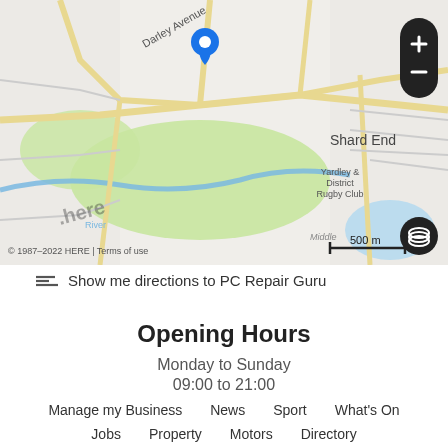[Figure (map): Street map showing Shard End area in Birmingham, UK. Map displays Darley Avenue, Yardley & District Rugby Club, Shard End label, and a blue location pin marker. Shows green park areas, a river, and road network. HERE Maps copyright 1987-2022. Scale bar showing 500m. Map controls include zoom in/out and layer toggle buttons.]
Show me directions to PC Repair Guru
Opening Hours
Monday to Sunday
09:00 to 21:00
Manage my Business   News   Sport   What's On
Jobs   Property   Motors   Directory